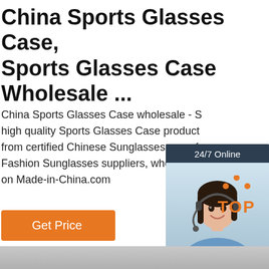China Sports Glasses Case, Sports Glasses Case Wholesale ...
China Sports Glasses Case wholesale - S... high quality Sports Glasses Case product from certified Chinese Sunglasses manuf... Fashion Sunglasses suppliers, wholesale on Made-in-China.com
[Figure (photo): Customer service representative with headset, smiling, with '24/7 Online' header, 'Click here for free chat!' text, and orange QUOTATION button]
Get Price
[Figure (logo): Orange TOP icon with triangle dots above the letters TOP in orange]
[Figure (photo): Gray/landscape image strip at bottom of page]